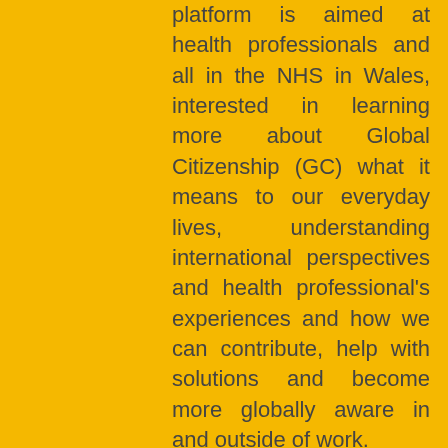platform is aimed at health professionals and all in the NHS in Wales, interested in learning more about Global Citizenship (GC) what it means to our everyday lives, understanding international perspectives and health professional's experiences and how we can contribute, help with solutions and become more globally aware in and outside of work.
Split into six modules, a core and five 'deep dives' covering subjects such as aid and development, rights-based health, globalisation,